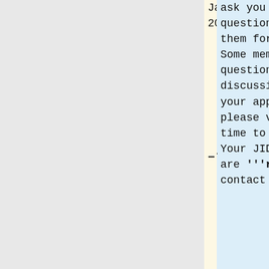January 2006]]
ask you some questions and we need them for our records. Some members ask questions using the discussion page of your application, please visit it from time to time. Your JID and e-mail are '''required'' to contact you upon